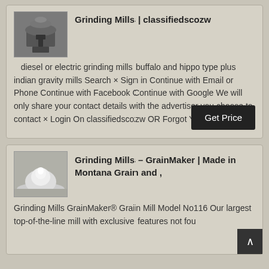[Figure (photo): Industrial grinding mill machine, gray/silver industrial equipment]
Grinding Mills | classifiedscozw
diesel or electric grinding mills buffalo and hippo type plus indian gravity mills Search × Sign in Continue with Email or Phone Continue with Facebook Continue with Google We will only share your contact details with the advertiser you choose to contact × Login On classifiedscozw OR Forgot Your Password ,
[Figure (photo): White powder/flour mound from grain grinding mill]
Grinding Mills – GrainMaker | Made in Montana Grain and ,
Grinding Mills GrainMaker® Grain Mill Model No116 Our largest top-of-the-line mill with exclusive features not fou... other mills Add To Cart $1 29999 GrainMaker®